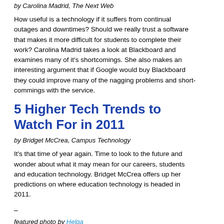by Carolina Madrid, The Next Web
How useful is a technology if it suffers from continual outages and downtimes? Should we really trust a software that makes it more difficult for students to complete their work? Carolina Madrid takes a look at Blackboard and examines many of it's shortcomings. She also makes an interesting argument that if Google would buy Blackboard they could improve many of the nagging problems and short-commings with the service.
5 Higher Tech Trends to Watch For in 2011
by Bridget McCrea, Campus Technology
It's that time of year again. Time to look to the future and wonder about what it may mean for our careers, students and education technology. Bridget McCrea offers up her predictions on where education technology is headed in 2011.
–
featured photo by Helga
6 Digital Trends to Watch In Education